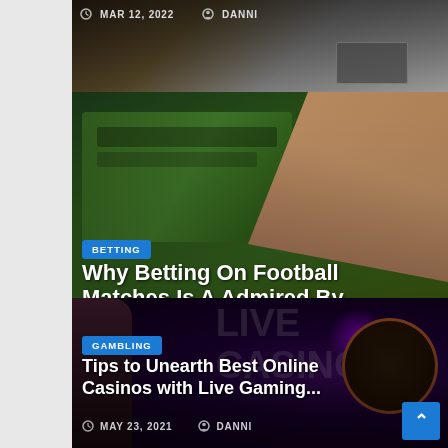MAR 12, 2022  DANNI
[Figure (photo): Partial view of a gambling/betting article card showing a laptop on a table with date MAR 12, 2022 and author DANNI]
[Figure (photo): Betting article card with background showing money/cash on green surface with a hand holding dice. Badge: BETTING. Title: Why Betting On Football Matches Is A Admired By...  Date: NOV 15, 2021  Author: DANNI]
[Figure (photo): Gambling article card with dark purple background featuring a woman, roulette wheel, dice, chips, and Live Casino text. Badge: GAMBLING. Title: Tips to Unearth Best Online Casinos with Live Gaming...  Date: MAY 23, 2021  Author: DANNI]